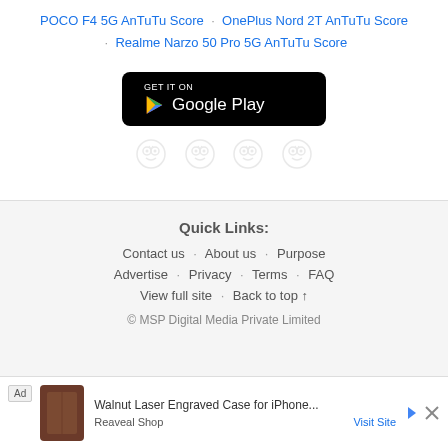POCO F4 5G AnTuTu Score · OnePlus Nord 2T AnTuTu Score · Realme Narzo 50 Pro 5G AnTuTu Score
[Figure (other): Google Play Store download button (black rounded rectangle with Google Play logo and text 'GET IT ON Google Play')]
[Figure (other): Four small owl/social media icons in a row, lightly colored]
Quick Links:
Contact us · About us · Purpose
Advertise · Privacy · Terms · FAQ
View full site · Back to top ↑
© MSP Digital Media Private Limited
Ad Walnut Laser Engraved Case for iPhone... Reaveal Shop Visit Site